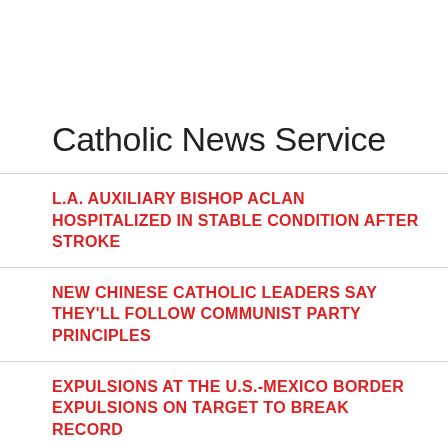Catholic News Service
L.A. AUXILIARY BISHOP ACLAN HOSPITALIZED IN STABLE CONDITION AFTER STROKE
NEW CHINESE CATHOLIC LEADERS SAY THEY'LL FOLLOW COMMUNIST PARTY PRINCIPLES
EXPULSIONS AT THE U.S.-MEXICO BORDER EXPULSIONS ON TARGET TO BREAK RECORD
LITERARY CRITIC SHINES LIGHT ON FAITH'S INFLUENCE ON CATHOLIC WRITERS